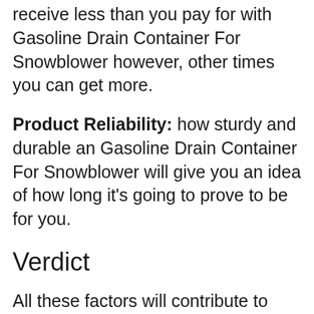receive less than you pay for with Gasoline Drain Container For Snowblower however, other times you can get more.
Product Reliability: how sturdy and durable an Gasoline Drain Container For Snowblower will give you an idea of how long it's going to prove to be for you.
Verdict
All these factors will contribute to choosing the Best Gasoline Drain Container For Snowblower which